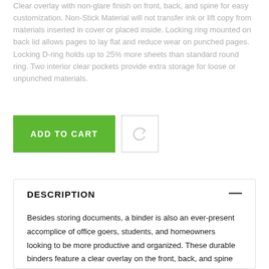Clear overlay with non-glare finish on front, back, and spine for easy customization. Non-Stick Material will not transfer ink or lift copy from materials inserted in cover or placed inside. Locking ring mounted on back lid allows pages to lay flat and reduce wear on punched pages. Locking D-ring holds up to 25% more sheets than standard round ring. Two interior clear pockets provide extra storage for loose or unpunched materials.
[Figure (other): Green 'ADD TO CART' button and a square refresh/compare icon button]
DESCRIPTION
Besides storing documents, a binder is also an ever-present accomplice of office goers, students, and homeowners looking to be more productive and organized. These durable binders feature a clear overlay on the front, back, and spine giving full control and flexibility over customization of presentations,